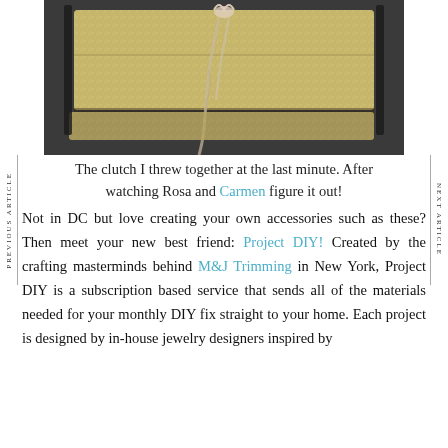[Figure (photo): A gold glitter clutch bag tied with a sheer ribbon bow, photographed from above on a neutral background.]
The clutch I threw together at the last minute. After watching Rosa and Carmen figure it out!
Not in DC but love creating your own accessories such as these? Then meet your new best friend: Project DIY! Created by the crafting masterminds behind M&J Trimming in New York, Project DIY is a subscription based service that sends all of the materials needed for your monthly DIY fix straight to your home. Each project is designed by in-house jewelry designers inspired by